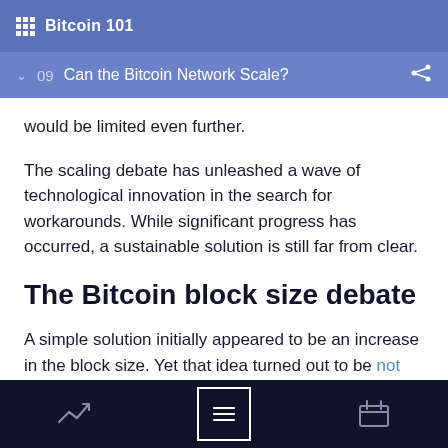Bitcoin 101
09  Can the Bitcoin Network Scale?
would be limited even further.
The scaling debate has unleashed a wave of technological innovation in the search for workarounds. While significant progress has occurred, a sustainable solution is still far from clear.
The Bitcoin block size debate
A simple solution initially appeared to be an increase in the block size. Yet that idea turned out to be not simple at all.